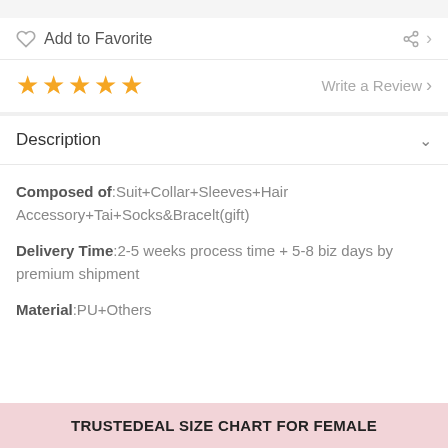Add to Favorite
Write a Review
Description
Composed of:Suit+Collar+Sleeves+Hair Accessory+Tai+Socks&Bracelt(gift)
Delivery Time:2-5 weeks process time + 5-8 biz days by premium shipment
Material:PU+Others
TRUSTEDEAL SIZE CHART FOR FEMALE